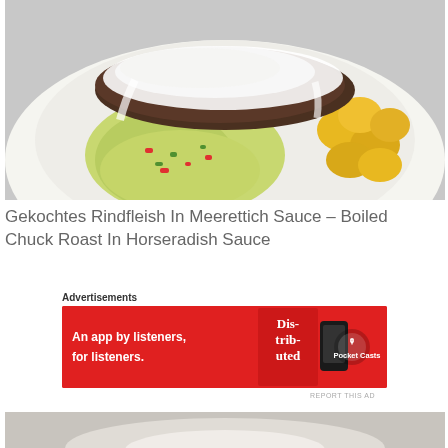[Figure (photo): A plate of boiled chuck roast with white horseradish sauce on top, served with sautéed cabbage salad with red and green peppers, and golden roasted baby potatoes]
Gekochtes Rindfleish In Meerettich Sauce – Boiled Chuck Roast In Horseradish Sauce
Advertisements
[Figure (infographic): Pocket Casts advertisement banner: red background with 'Distributed' book/app graphic and text 'An app by listeners, for listeners.' with Pocket Casts logo]
REPORT THIS AD
[Figure (photo): Second food photo partially visible at the bottom of the page]